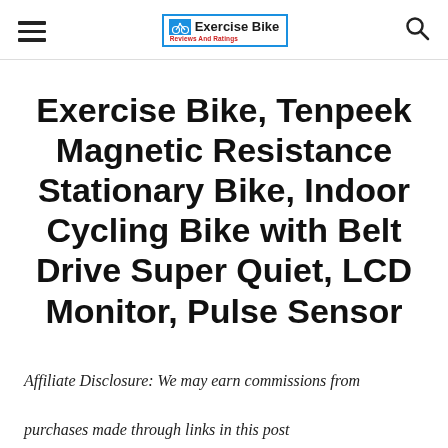Exercise Bike Reviews And Ratings
Exercise Bike, Tenpeek Magnetic Resistance Stationary Bike, Indoor Cycling Bike with Belt Drive Super Quiet, LCD Monitor, Pulse Sensor
Affiliate Disclosure: We may earn commissions from purchases made through links in this post